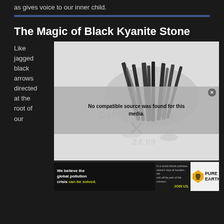as gives voice to our inner child.
The Magic of Black Kyanite Stone
Like jagged black arrows directed at the root of our
[Figure (photo): Black kyanite stone crystal specimen on white background, showing dark blade-like formations. Overlaid with a video error message: 'No compatible source was found for this media.' and an X close button. Faint watermark text partially visible underneath.]
[Figure (infographic): Advertisement banner for Pure Earth organization. Text reads: 'We believe the global pollution crisis can be solved.' and 'In a world where pollution doesn't stop at borders, we can all be part of the solution. JOIN US.' with Pure Earth logo.]